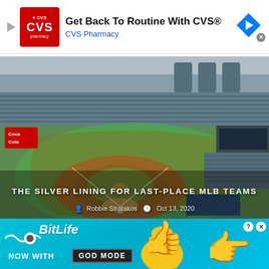[Figure (screenshot): CVS Pharmacy advertisement banner with logo, headline 'Get Back To Routine With CVS®', brand name 'CVS Pharmacy', navigation arrow icon and close button]
[Figure (photo): Aerial view of a baseball stadium (Citi Field, NY Mets) showing the diamond infield, green outfield, and tiered seating stands under an overcast sky]
THE SILVER LINING FOR LAST-PLACE MLB TEAMS
Robbie Stratakos  Oct 13, 2020
[Figure (screenshot): BitLife mobile game advertisement with teal background, 'NOW WITH GOD MODE' text, thumbs-up hand illustration and pointing hand illustration, close button and help button]